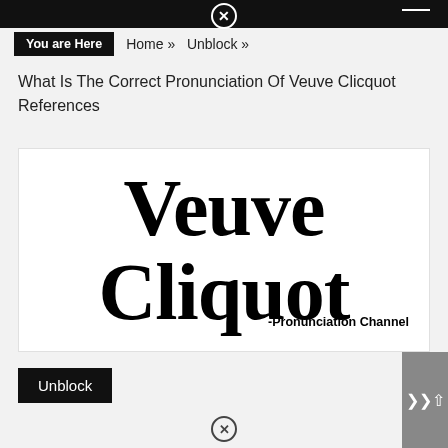You are Here   Home »   Unblock »
What Is The Correct Pronunciation Of Veuve Clicquot References
[Figure (illustration): Large bold serif text reading 'Veuve Clicquot' centered in a white box, with attribution '-Pronunciation Channel' at bottom right.]
Unblock